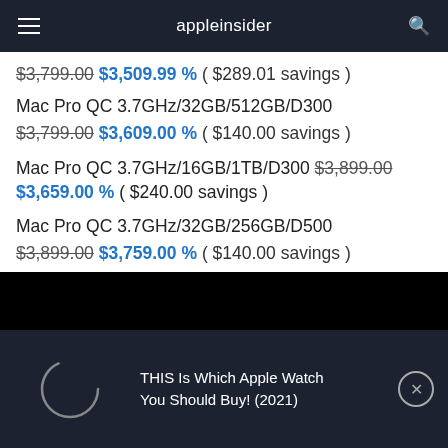appleinsider
$3,799.00 $3,509.99 % ( $289.01 savings )
Mac Pro QC 3.7GHz/32GB/512GB/D300
$3,799.00 $3,609.00 % ( $140.00 savings )
Mac Pro QC 3.7GHz/16GB/1TB/D300 $3,899.00 $3,659.00 % ( $240.00 savings )
Mac Pro QC 3.7GHz/32GB/256GB/D500
$3,899.00 $3,759.00 % ( $140.00 savings )
THIS Is Which Apple Watch You Should Buy! (2021)